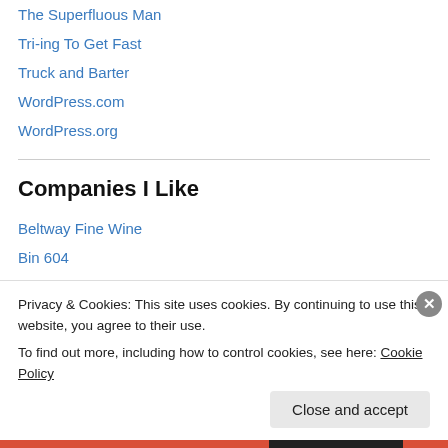The Superfluous Man
Tri-ing To Get Fast
Truck and Barter
WordPress.com
WordPress.org
Companies I Like
Beltway Fine Wine
Bin 604
Chesapeake Wine Company
Colosseum Gym
Lexus of Towson
Privacy & Cookies: This site uses cookies. By continuing to use this website, you agree to their use. To find out more, including how to control cookies, see here: Cookie Policy
Close and accept